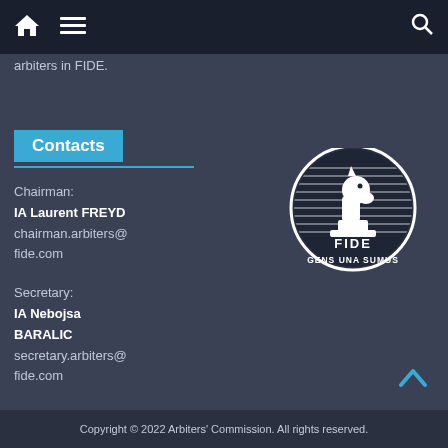Navigation bar with home, menu, and search icons
arbiters in FIDE.
Contacts
Chairman:
IA Laurent FREYD
chairman.arbiters@fide.com
Secretary:
IA Nebojsa BARALIC
secretary.arbiters@fide.com
[Figure (logo): FIDE logo — white chess knight on striped oval, with text FIDE GENS UNA SUMUS on dark background]
Copyright © 2022 Arbiters' Commission. All rights reserved.